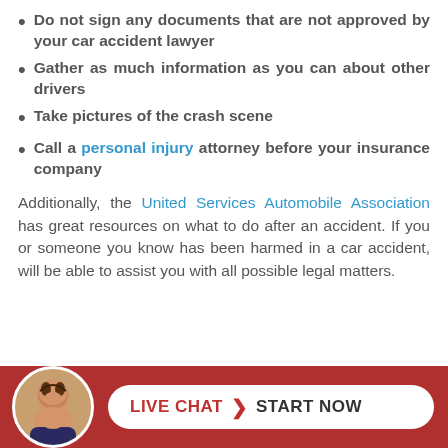Do not sign any documents that are not approved by your car accident lawyer
Gather as much information as you can about other drivers
Take pictures of the crash scene
Call a personal injury attorney before your insurance company
Additionally, the United Services Automobile Association has great resources on what to do after an accident. If you or someone you know has been harmed in a car accident, will be able to assist you with all possible legal matters.
[Figure (infographic): Live chat banner with female avatar and a white rounded button reading LIVE CHAT > START NOW on a dark red background]